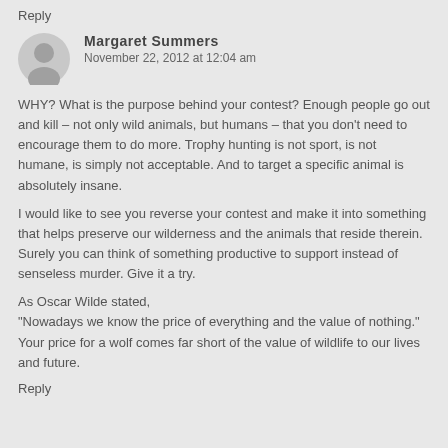Reply
Margaret Summers
November 22, 2012 at 12:04 am
WHY? What is the purpose behind your contest? Enough people go out and kill – not only wild animals, but humans – that you don't need to encourage them to do more. Trophy hunting is not sport, is not humane, is simply not acceptable. And to target a specific animal is absolutely insane.
I would like to see you reverse your contest and make it into something that helps preserve our wilderness and the animals that reside therein. Surely you can think of something productive to support instead of senseless murder. Give it a try.
As Oscar Wilde stated,
"Nowadays we know the price of everything and the value of nothing."
Your price for a wolf comes far short of the value of wildlife to our lives and future.
Reply